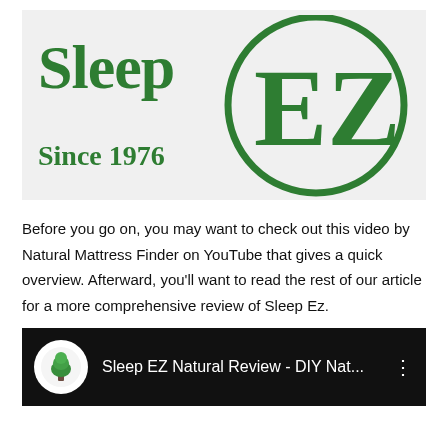[Figure (logo): Sleep EZ logo with 'Sleep EZ Since 1976' text in green and a green circle enclosing 'EZ', on a light gray background]
Before you go on, you may want to check out this video by Natural Mattress Finder on YouTube that gives a quick overview. Afterward, you'll want to read the rest of our article for a more comprehensive review of Sleep Ez.
[Figure (screenshot): YouTube video thumbnail/embed bar showing 'Sleep EZ Natural Review - DIY Nat...' with a tree icon and three-dot menu, dark background]